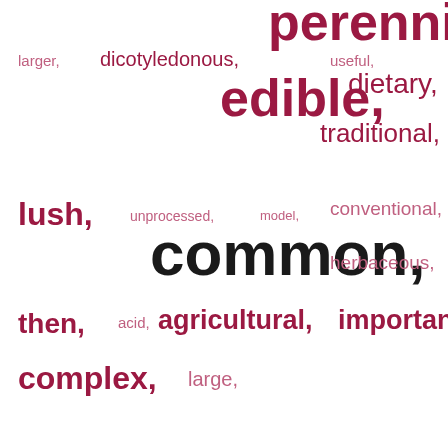[Figure (infographic): Word cloud with botanical/plant-related adjectives in varying sizes and shades of dark red/crimson and light pink, on a white background. Words include: perennial (cut off, top right), larger, dicotyledonous, useful, edible, dietary, traditional, lush, unprocessed, model, conventional, common, herbaceous, then, acid, agricultural, important, wild, starchy, complex, large.]